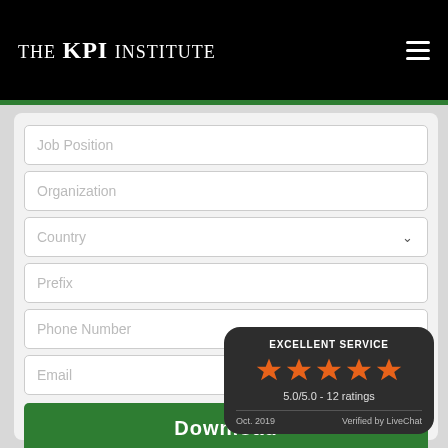The KPI Institute
Job Position
Organization
Country
Prefix
Phone Number
Email
Download
[Figure (infographic): Rating popup: EXCELLENT SERVICE, 5 orange stars, 5.0/5.0 - 12 ratings, Oct. 2019, Verified by LiveChat]